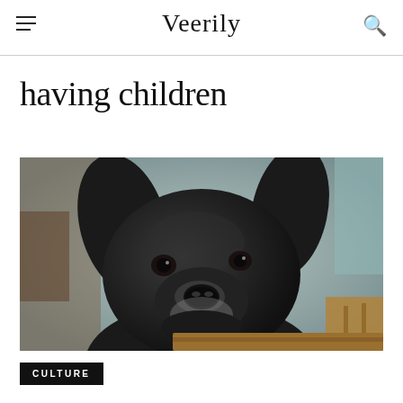Veerily
having children
[Figure (photo): Close-up photo of a black French bulldog or chihuahua-type dog resting its head on what appears to be a wooden surface, looking up at the camera with its tongue slightly out. The background is blurred with bokeh effect showing muted teal and brown tones.]
CULTURE